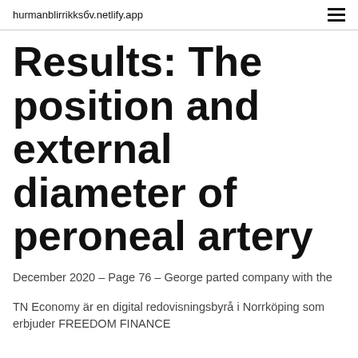hurmanblirrikksбv.netlify.app
Results: The position and external diameter of peroneal artery
December 2020 – Page 76 – George parted company with the
TN Economy är en digital redovisningsbyrå i Norrköping som erbjuder FREEDOM FINANCE